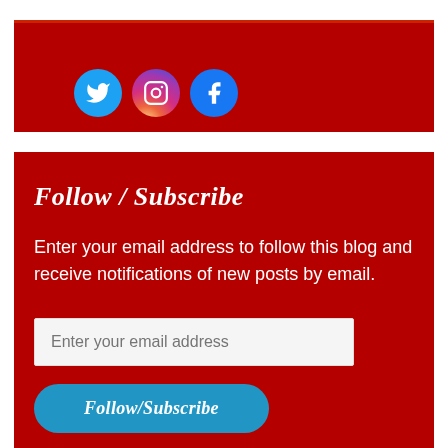[Figure (illustration): Social media icons for Twitter (blue circle), Instagram (gradient circle), and Facebook (blue circle) on a dark red background]
Follow / Subscribe
Enter your email address to follow this blog and receive notifications of new posts by email.
Enter your email address (input field)
Follow/Subscribe (button)